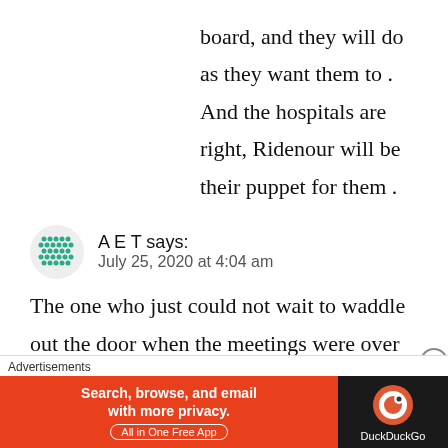board, and they will do as they want them to . And the hospitals are right, Ridenour will be their puppet for them .
A E T says:
July 25, 2020 at 4:04 am
The one who just could not wait to waddle out the door when the meetings were over JANA MACHESKY  She DID NOT want to
Advertisements
Search, browse, and email with more privacy. All in One Free App  DuckDuckGo